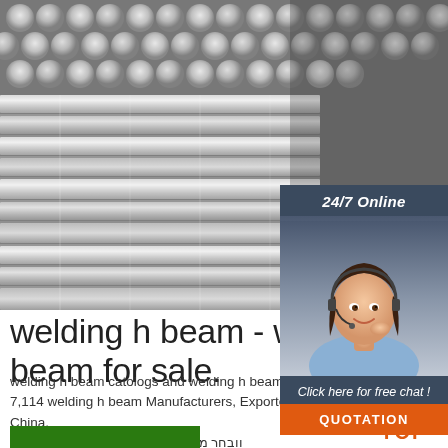[Figure (photo): Photo of stacked metallic rods/bars (aluminum or steel) viewed from the end, showing circular cross-sections arranged in rows]
[Figure (photo): 24/7 online chat widget showing a female customer service agent wearing a headset, with 'Click here for free chat!' and orange QUOTATION button]
welding h beam - welding h beam for sale.
welding h beam catologs and welding h beam manufacturers - 7,114 welding h beam Manufacturers, Exporters & suppliers from China. ובחר מתוך מדגימאות בעובדי 'מצטיינים ...
[Figure (logo): TOP logo with orange dots forming a triangle/arch shape above the word TOP in orange]
[Figure (other): Green bar at the bottom of the page]